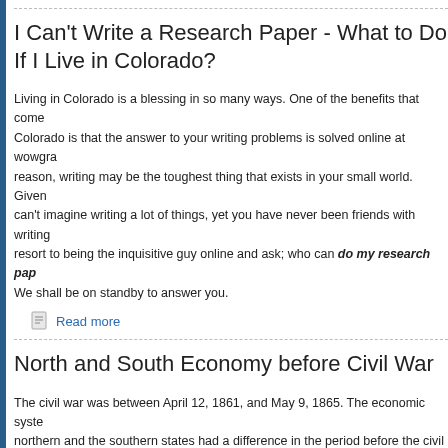I Can't Write a Research Paper - What to Do If I Live in Colorado?
Living in Colorado is a blessing in so many ways. One of the benefits that comes with living in Colorado is that the answer to your writing problems is solved online at wowgra... reason, writing may be the toughest thing that exists in your small world. Given... can't imagine writing a lot of things, yet you have never been friends with writing... resort to being the inquisitive guy online and ask; who can do my research pap... We shall be on standby to answer you.
Read more
North and South Economy before Civil War
The civil war was between April 12, 1861, and May 9, 1865. The economic syste... northern and the southern states had a difference in the period before the civil w... economy was in a transitional stage on the civil war's eve. The economy prior to... relying on agriculture but was afterward advancing to the first stages of the indu... starting of the industrial revolution, during the prewar period, was mostly limited... the Mason-Dixon making the southern part lag behind.
Read more
Seven Best Restaurants to Visit in Colorado